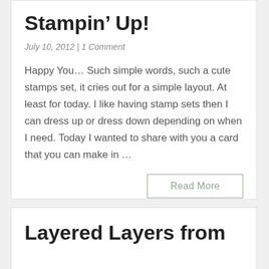Stampin' Up!
July 10, 2012 | 1 Comment
Happy You… Such simple words, such a cute stamps set, it cries out for a simple layout. At least for today. I like having stamp sets then I can dress up or dress down depending on when I need. Today I wanted to share with you a card that you can make in …
Read More
Layered Layers from